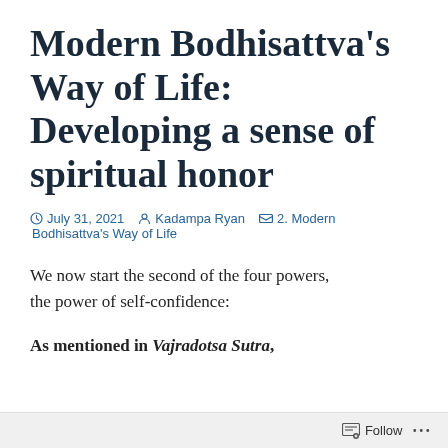Modern Bodhisattva's Way of Life: Developing a sense of spiritual honor
July 31, 2021   Kadampa Ryan   2. Modern Bodhisattva's Way of Life
We now start the second of the four powers, the power of self-confidence:
As mentioned in Vajradotsa Sutra,